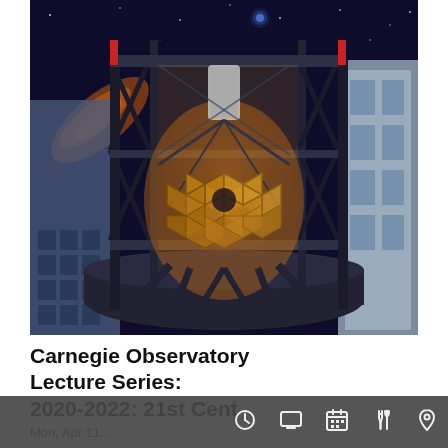[Figure (illustration): Rendering of a large telescope (Giant Magellan Telescope) inside an observatory enclosure, with golden segmented mirror array visible. The background shows a night sky with stars and galaxy imagery on the left side. The telescope structure has a dark steel frame/truss system. Adjacent building with windows is visible on the right.]
Carnegie Observatory Lecture Series: 2020-2022: 21st Cent
Mon, Apr 11...